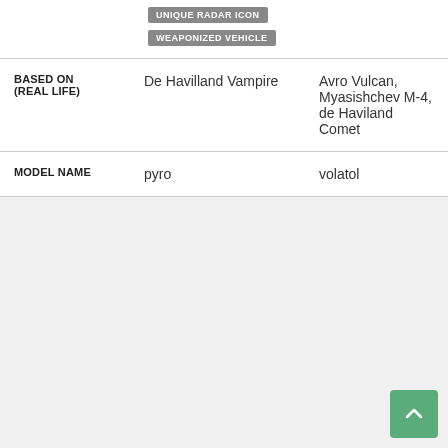UNIQUE RADAR ICON
WEAPONIZED VEHICLE
|  | Column 1 | Column 2 |
| --- | --- | --- |
| BASED ON (REAL LIFE) | De Havilland Vampire | Avro Vulcan, Myasishchev M-4, de Haviland Comet |
| MODEL NAME | pyro | volatol |
[Figure (other): Light gray empty area with a green back-to-top arrow button in the bottom right corner]